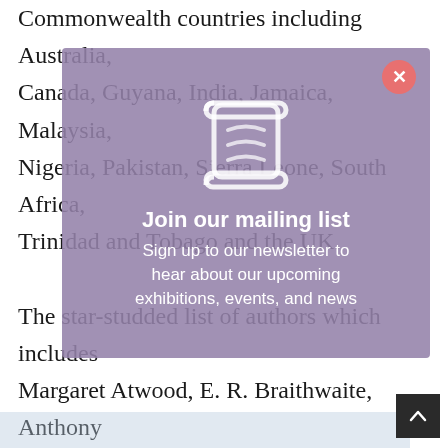Commonwealth countries including Australia, Canada, Guyana, India, Jamaica, Malaysia, Nigeria, Pakistan, Sierra Leone, South Africa, Trinidad and Tobago and the UK. The star-studded list of authors which includes Margaret Atwood, E. R. Braithwaite, Anthony Burgess, John le Carré, Bernardine Evaristo, Seamus Heaney, Kazuo Ishiguro, Marlon James, Hilary Mantel, Andrea Levy, Arundhati Roy, Salman Rushdie, Zadie Smith, Douglas Stuart, Derek Walcott, and Markus Zusak; brings some of the best writers of the last 70 years back
[Figure (other): Modal popup overlay with mailing list signup prompt. Contains a scroll/document icon, title 'Join our mailing list', subtitle 'Sign up to our newsletter to hear about our upcoming exhibitions, events, and news', a close button (X) in coral/red circle top-right, and a dark scroll/document icon graphic.]